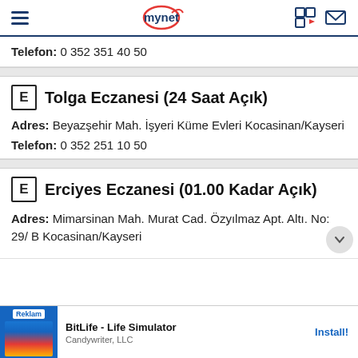mynet
Telefon: 0 352 351 40 50
E Tolga Eczanesi (24 Saat Açık)
Adres: Beyazşehir Mah. İşyeri Küme Evleri Kocasinan/Kayseri
Telefon: 0 352 251 10 50
E Erciyes Eczanesi (01.00 Kadar Açık)
Adres: Mimarsinan Mah. Murat Cad. Özyılmaz Apt. Altı. No: 29/ B Kocasinan/Kayseri
[Figure (screenshot): Advertisement banner: BitLife - Life Simulator by Candywriter, LLC with Install button]